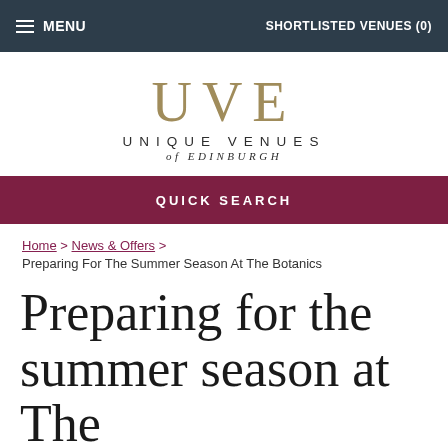MENU  SHORTLISTED VENUES (0)
[Figure (logo): UVE - Unique Venues of Edinburgh logo with large golden UVE letters and subtitle text]
QUICK SEARCH
Home > News & Offers > Preparing For The Summer Season At The Botanics
Preparing for the summer season at The